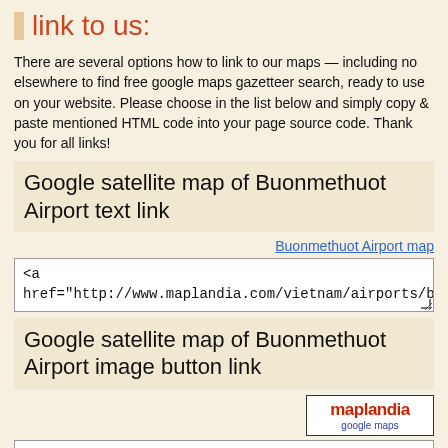link to us:
There are several options how to link to our maps — including no elsewhere to find free google maps gazetteer search, ready to use on your website. Please choose in the list below and simply copy & paste mentioned HTML code into your page source code. Thank you for all links!
Google satellite map of Buonmethuot Airport text link
Buonmethuot Airport map
<a
href="http://www.maplandia.com/vietnam/airports/buonm
Google satellite map of Buonmethuot Airport image button link
[Figure (logo): Maplandia google maps logo — red text 'maplandia' with blue subtitle 'google maps' in a white box with black border]
<a
href="http://www.maplandia.com/vietnam/airports/buonm
map search